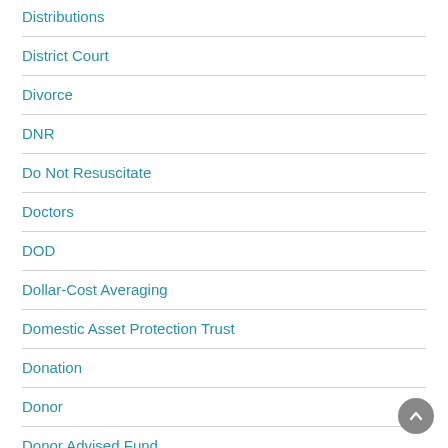Distributions
District Court
Divorce
DNR
Do Not Resuscitate
Doctors
DOD
Dollar-Cost Averaging
Domestic Asset Protection Trust
Donation
Donor
Donor Advised Fund
Donor Spouse